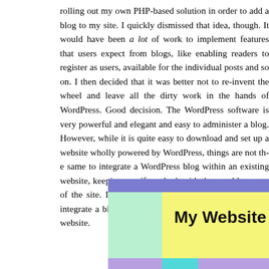rolling out my own PHP-based solution in order to add a blog to my site. I quickly dismissed that idea, though. It would have been a lot of work to implement features that users expect from blogs, like enabling readers to register as users, making comments available for the individual posts and so on. I then decided that it was better not to re-invent the wheel and leave all the dirty work in the hands of WordPress. Good decision. The WordPress software is very powerful and elegant and easy to administer a blog. However, while it is quite easy to download and set up a website wholly powered by WordPress, things are not that easy to integrate a WordPress blog within an existing website, keeping a uniform look with the non-blog parts of the site. In this post I'm going to explain a way to integrate a blog powered by WordPress into an existing website.
[Figure (illustration): A website layout diagram showing a purple/blue navigation bar at the top, a green left sidebar, and a yellow main content area with the label 'My Website' in bold. A purple footer bar and teal accent strip appear at the bottom.]